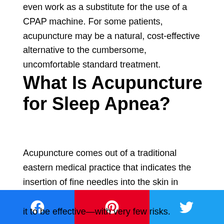even work as a substitute for the use of a CPAP machine. For some patients, acupuncture may be a natural, cost-effective alternative to the cumbersome, uncomfortable standard treatment.
What Is Acupuncture for Sleep Apnea?
Acupuncture comes out of a traditional eastern medical practice that indicates the insertion of fine needles into the skin in certain areas to treat physical and mental conditions. The concept is that the needles, inserted to specific depths, stimulate certain systems of the body to promote healing and boost overall well being. Although no one is exactly sure how it works, people have been using this practice for thousands of years and have found it to be effective—with very few risks.
[Figure (other): Social share bar with Facebook, Pinterest, and Twitter buttons]